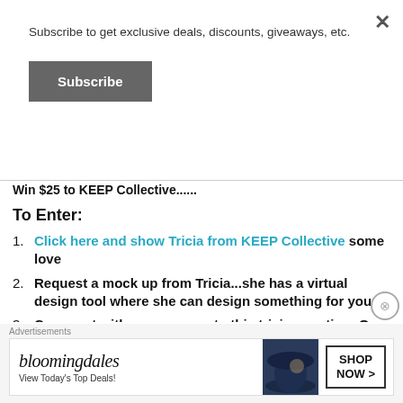Subscribe to get exclusive deals, discounts, giveaways, etc.
Subscribe (button)
Win $25 to KEEP Collective......
To Enter:
Click here and show Tricia from KEEP Collective some love
Request a mock up from Tricia...she has a virtual design tool where she can design something for you
Comment with your answer to this trivia question: On average, what do you do 15
[Figure (screenshot): Bloomingdale's advertisement banner: logo, 'View Today's Top Deals!', woman with hat, SHOP NOW button]